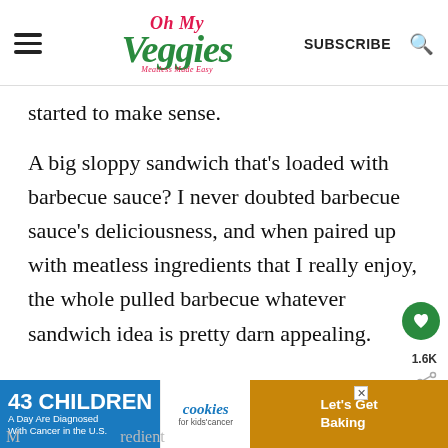Oh My Veggies — Meatless Made Easy | SUBSCRIBE
started to make sense.
A big sloppy sandwich that's loaded with barbecue sauce? I never doubted barbecue sauce's deliciousness, and when paired up with meatless ingredients that I really enjoy, the whole pulled barbecue whatever sandwich idea is pretty darn appealing.
[Figure (screenshot): Advertisement banner: '43 CHILDREN A Day Are Diagnosed With Cancer in the U.S.' with cookies for kids' cancer logo and 'Let's Get Baking' text on brown background.]